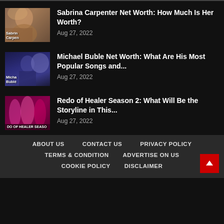Sabrina Carpenter Net Worth: How Much Is Her Worth? | Aug 27, 2022
Michael Buble Net Worth: What Are His Most Popular Songs and… | Aug 27, 2022
Redo of Healer Season 2: What Will Be the Storyline in This… | Aug 27, 2022
ABOUT US  CONTACT US  PRIVACY POLICY  TERMS & CONDITION  ADVERTISE ON US  COOKIE POLICY  DISCLAIMER